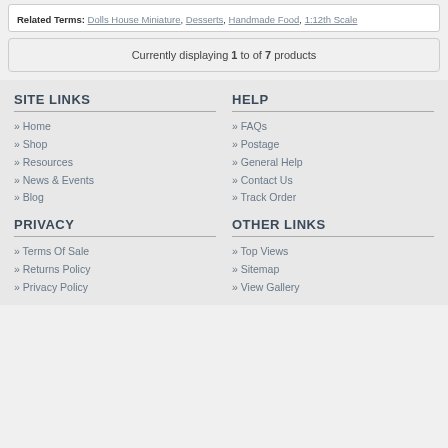Related Terms: Dolls House Miniature, Desserts, Handmade Food, 1:12th Scale
Currently displaying 1 to of 7 products
SITE LINKS
Home
Shop
Resources
News & Events
Blog
HELP
FAQs
Postage
General Help
Contact Us
Track Order
PRIVACY
Terms Of Sale
Returns Policy
Privacy Policy
OTHER LINKS
Top Views
Sitemap
View Gallery